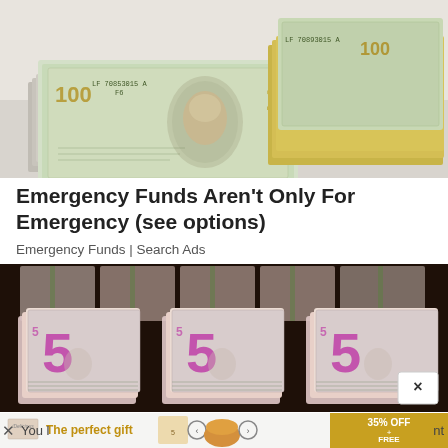[Figure (photo): Stacks of $100 bills arranged diagonally on a white background]
Emergency Funds Aren't Only For Emergency (see options)
Emergency Funds | Search Ads
[Figure (photo): Three stacks of $5 bills on a dark wooden surface]
[Figure (photo): Advertisement banner: The perfect gift - bowl product with 35% OFF + FREE SHIPPING]